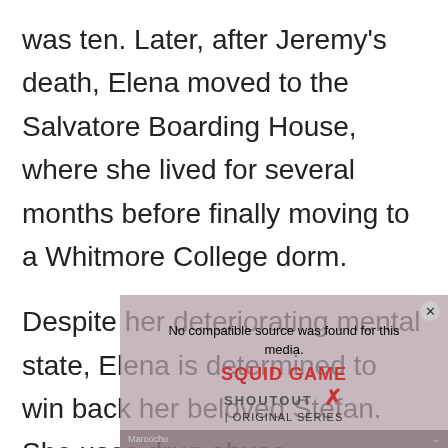was ten. Later, after Jeremy's death, Elena moved to the Salvatore Boarding House, where she lived for several months before finally moving to a Whitmore College dorm.

Despite her deteriorating mental state, Elena is determined to win back her beloved Stefan. She uses drug abuse
[Figure (screenshot): An embedded video player overlay showing 'No compatible source was found for this media.' with a Squid Game Shoutout advertisement and an X close button, overlapping the text content.]